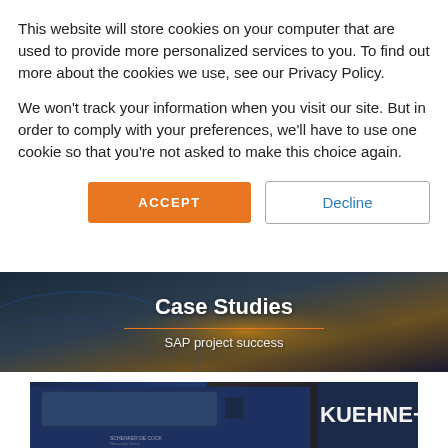This website will store cookies on your computer that are used to provide more personalized services to you. To find out more about the cookies we use, see our Privacy Policy.
We won't track your information when you visit our site. But in order to comply with your preferences, we'll have to use one cookie so that you're not asked to make this choice again.
ACCEPT
Decline
[Figure (screenshot): Case Studies banner with dark globe/earth background image. Bold white title 'Case Studies', orange horizontal rule, and subtitle 'SAP project success' in light text.]
[Figure (photo): Photo of blue truck cab with 'SCHENKER DE COCK' text and partial 'KUEHNE+N' text visible on right side of truck door area.]